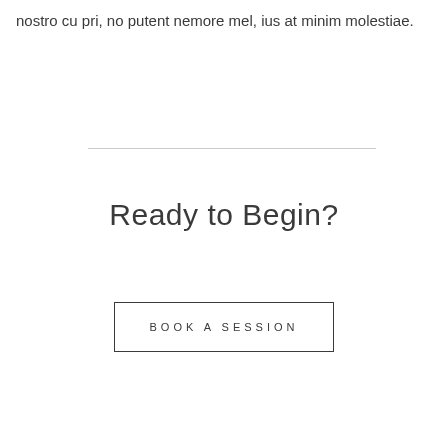nostro cu pri, no putent nemore mel, ius at minim molestiae.
Ready to Begin?
BOOK A SESSION